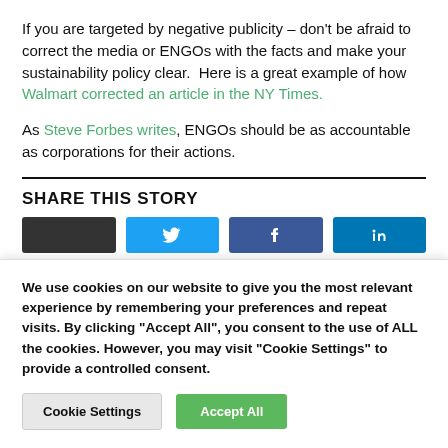If you are targeted by negative publicity – don't be afraid to correct the media or ENGOs with the facts and make your sustainability policy clear.  Here is a great example of how Walmart corrected an article in the NY Times.
As Steve Forbes writes, ENGOs should be as accountable as corporations for their actions.
SHARE THIS STORY
[Figure (other): Four social media share buttons (dark, blue Twitter, blue Facebook, blue LinkedIn) partially visible]
We use cookies on our website to give you the most relevant experience by remembering your preferences and repeat visits. By clicking "Accept All", you consent to the use of ALL the cookies. However, you may visit "Cookie Settings" to provide a controlled consent.